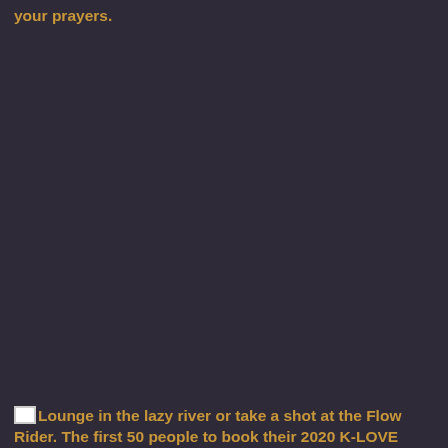your prayers.
Lounge in the lazy river or take a shot at the Flow Rider. The first 50 people to book their 2020 K-LOVE